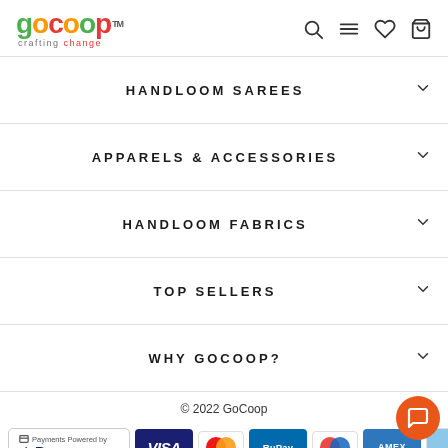GoCoop - Crafting Change
HANDLOOM SAREES
APPARELS & ACCESSORIES
HANDLOOM FABRICS
TOP SELLERS
WHY GOCOOP?
© 2022 GoCoop
[Figure (logo): Razorpay payments powered by logo with payment card icons: Visa, Mastercard, RuPay, Maestro, AMEX]